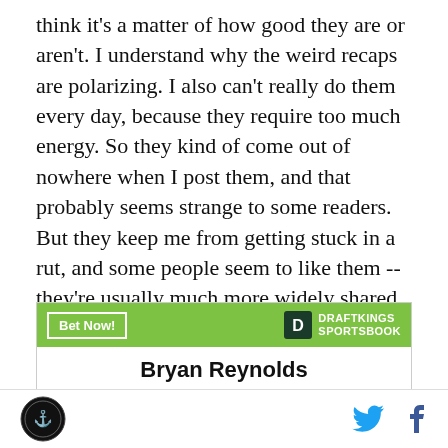think it's a matter of how good they are or aren't. I understand why the weird recaps are polarizing. I also can't really do them every day, because they require too much energy. So they kind of come out of nowhere when I post them, and that probably seems strange to some readers. But they keep me from getting stuck in a rut, and some people seem to like them -- they're usually much more widely shared and rec'd than standard recaps. So I'm going to keep doing them from time to time.
[Figure (infographic): DraftKings Sportsbook betting widget with green header containing 'Bet Now!' button and DraftKings Sportsbook logo, and white body showing 'Bryan Reynolds' in bold text]
Site logo (circular black icon with ship) on left; Twitter and Facebook social icons on right